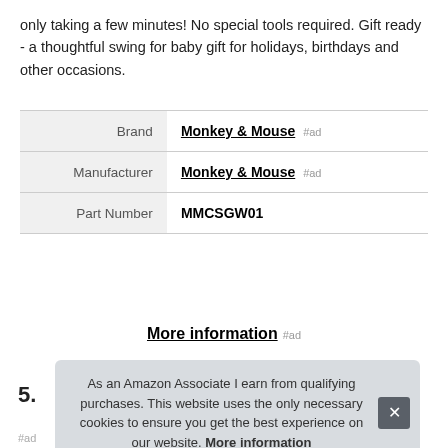only taking a few minutes! No special tools required. Gift ready - a thoughtful swing for baby gift for holidays, birthdays and other occasions.
|  |  |
| --- | --- |
| Brand | Monkey & Mouse #ad |
| Manufacturer | Monkey & Mouse #ad |
| Part Number | MMCSGW01 |
More information #ad
5.
As an Amazon Associate I earn from qualifying purchases. This website uses the only necessary cookies to ensure you get the best experience on our website. More information
#ad